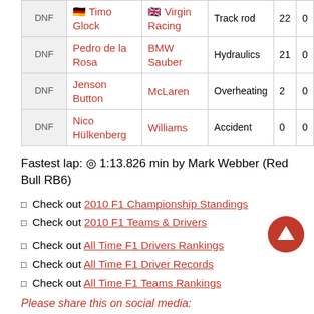| Pos | Driver | Team | Reason | Laps | Pts |
| --- | --- | --- | --- | --- | --- |
| DNF | Timo Glock | Virgin Racing | Track rod | 22 | 0 |
| DNF | Pedro de la Rosa | BMW Sauber | Hydraulics | 21 | 0 |
| DNF | Jenson Button | McLaren | Overheating | 2 | 0 |
| DNF | Nico Hülkenberg | Williams | Accident | 0 | 0 |
Fastest lap: 🕐 1:13.826 min by Mark Webber (Red Bull RB6)
Check out 2010 F1 Championship Standings
Check out 2010 F1 Teams & Drivers
Check out All Time F1 Drivers Rankings
Check out All Time F1 Driver Records
Check out All Time F1 Teams Rankings
Please share this on social media: